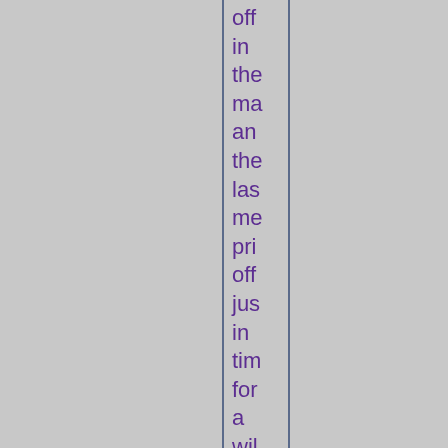off in the ma an the las me pri off jus in tim for a wil rid to the